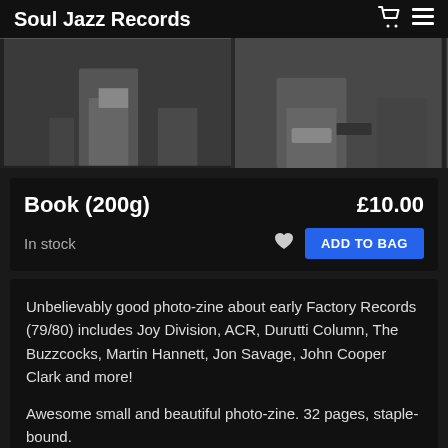Soul Jazz Records
[Figure (photo): Black and white photo strip showing two cropped images of people, likely musicians, with dark background]
Book (200g)
£10.00
In stock
ADD TO BAG
Unbelievably good photo-zine about early Factory Records (79/80) includes Joy Division, ACR, Durutti Column, The Buzzcocks, Martin Hannett, Jon Savage, John Cooper Clark and more!
Awesome small and beautiful photo-zine. 32 pages, staple-bound.
100% ESSENTIAL!